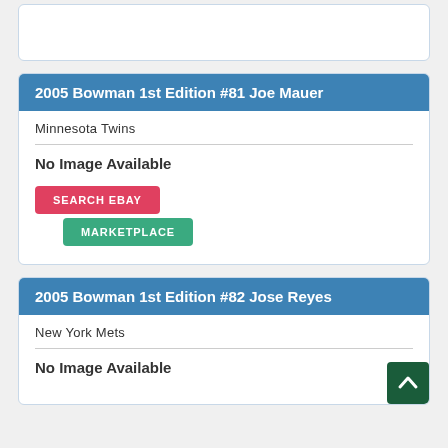2005 Bowman 1st Edition #81 Joe Mauer
Minnesota Twins
No Image Available
SEARCH EBAY
MARKETPLACE
2005 Bowman 1st Edition #82 Jose Reyes
New York Mets
No Image Available